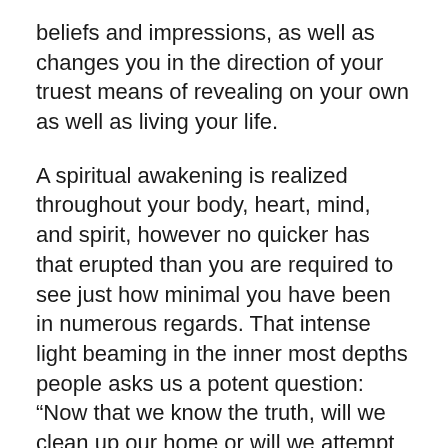beliefs and impressions, as well as changes you in the direction of your truest means of revealing on your own as well as living your life.
A spiritual awakening is realized throughout your body, heart, mind, and spirit, however no quicker has that erupted than you are required to see just how minimal you have been in numerous regards. That intense light beaming in the inner most depths people asks us a potent question: “Now that we know the truth, will we clean up our home or will we attempt to ignore our illusions, pain, as well as misunderstandings?”
By the way, for those who are interested, I have a newsletter called, “The Wake Up